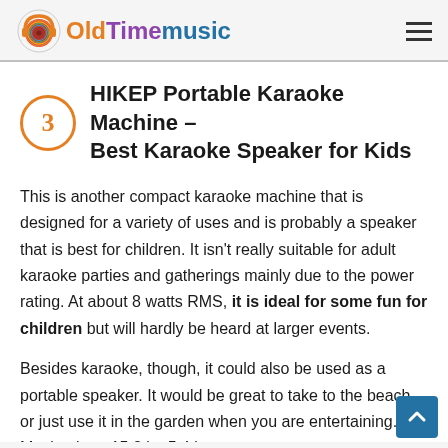OldTimemusic
HIKEP Portable Karaoke Machine – Best Karaoke Speaker for Kids
This is another compact karaoke machine that is designed for a variety of uses and is probably a speaker that is best for children. It isn't really suitable for adult karaoke parties and gatherings mainly due to the power rating. At about 8 watts RMS, it is ideal for some fun for children but will hardly be heard at larger events.
Besides karaoke, though, it could also be used as a portable speaker. It would be great to take to the beach or just use it in the garden when you are entertaining. Moving in at 15.2 by 5.4 by